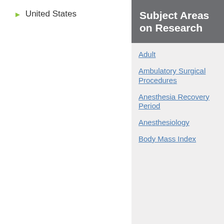▶ United States
Subject Areas on Research
Adult
Ambulatory Surgical Procedures
Anesthesia Recovery Period
Anesthesiology
Body Mass Index